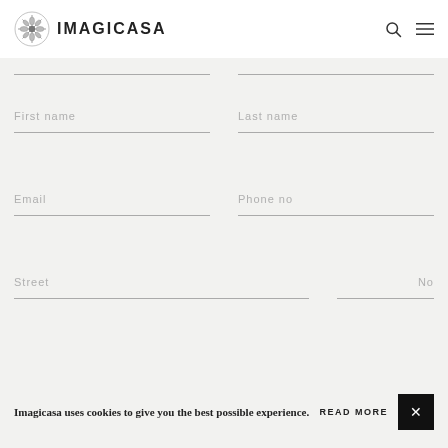[Figure (logo): Imagicasa logo with ornamental snowflake/mandala icon and the text IMAGICASA]
First name
Last name
Email
Phone no
Street
No
Imagicasa uses cookies to give you the best possible experience.
READ MORE